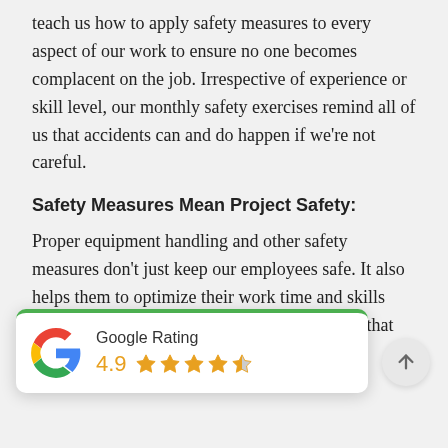teach us how to apply safety measures to every aspect of our work to ensure no one becomes complacent on the job. Irrespective of experience or skill level, our monthly safety exercises remind all of us that accidents can and do happen if we're not careful.
Safety Measures Mean Project Safety:
Proper equipment handling and other safety measures don't just keep our employees safe. It also helps them to optimize their work time and skills while working in a safe environment in a way that means added protection for the client as well throughout our time on their project
[Figure (infographic): Google Rating widget showing a 4.9 star rating with the Google 'G' logo, 4 full stars and 1 half star, overlaid on the page content]